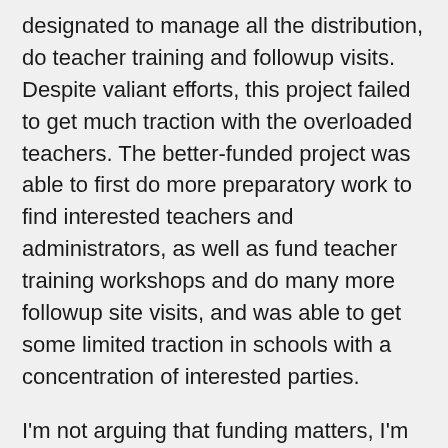designated to manage all the distribution, do teacher training and followup visits. Despite valiant efforts, this project failed to get much traction with the overloaded teachers. The better-funded project was able to first do more preparatory work to find interested teachers and administrators, as well as fund teacher training workshops and do many more followup site visits, and was able to get some limited traction in schools with a concentration of interested parties.
I'm not arguing that funding matters, I'm arguing that networks matter -- networks of teachers and administrators, community leaders, and implementation personnel helping with technical issues. This is greatly lubricated by increased funding when transport and telecom communication is cost-